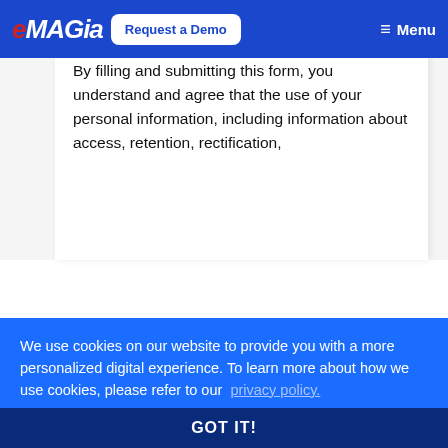eMagia | Request a Demo | Menu
vy, the terms and conditions in the Emagia Referral Program Agreement.
By filling and submitting this form, you understand and agree that the use of your personal information, including information about access, retention, rectification,
We use cookies on our website to provide you with a more personalized digital experience. To learn more about how we use cookies, please refer to our privacy policy.
GOT IT!